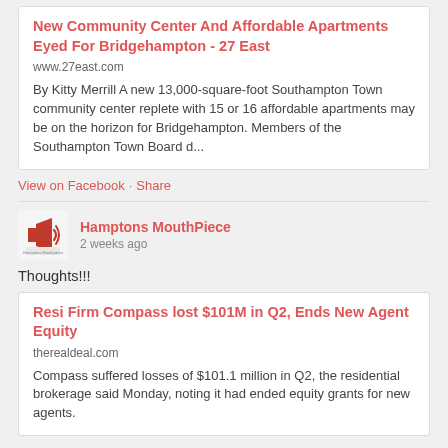New Community Center And Affordable Apartments Eyed For Bridgehampton - 27 East
www.27east.com
By Kitty Merrill A new 13,000-square-foot Southampton Town community center replete with 15 or 16 affordable apartments may be on the horizon for Bridgehampton. Members of the Southampton Town Board d...
View on Facebook · Share
[Figure (logo): Hamptons MouthPiece logo: megaphone icon with sound waves]
Hamptons MouthPiece
2 weeks ago
Thoughts!!!
Resi Firm Compass lost $101M in Q2, Ends New Agent Equity
therealdeal.com
Compass suffered losses of $101.1 million in Q2, the residential brokerage said Monday, noting it had ended equity grants for new agents.